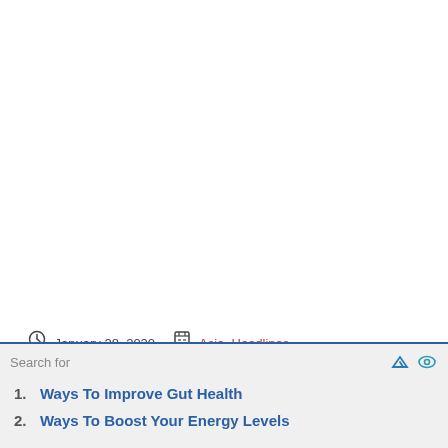January 28, 2020   Asia, Headlines   No Comments
[Figure (other): Yellow advertisement banner placeholder]
Search for
1. Ways To Improve Gut Health
2. Ways To Boost Your Energy Levels